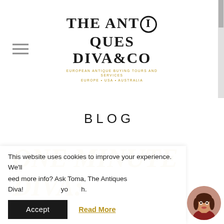[Figure (logo): The Antiques Diva & Co logo with tagline about antique buying tours and services in Europe, USA, and Australia]
BLOG
ONE MINUTE DIVA:
This website uses cookies to improve your experience. We'll
eed more info? Ask Toma, The Antiques Diva! yo h.
Accept
Read More